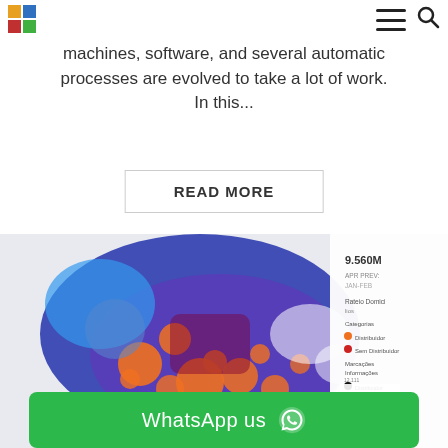[Logo] [Hamburger menu] [Search icon]
machines, software, and several automatic processes are evolved to take a lot of work. In this...
READ MORE
[Figure (map): Colorful choropleth/bubble map of South America and Central America showing retail or distribution data with orange, blue, and purple regions. Legend visible on right side with categories including Distribuidor, and data values. A bar chart visible in bottom-right corner showing two bars. Value shown: 9.560M. WhatsApp us button visible at bottom.]
WhatsApp us